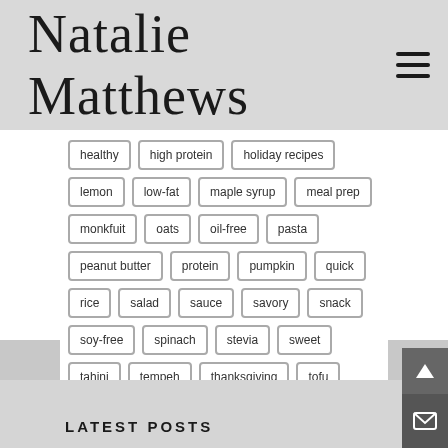Natalie Matthews
healthy
high protein
holiday recipes
lemon
low-fat
maple syrup
meal prep
monkfuit
oats
oil-free
pasta
peanut butter
protein
pumpkin
quick
rice
salad
sauce
savory
snack
soy-free
spinach
stevia
sweet
tahini
tempeh
thanksgiving
tofu
workout
LATEST POSTS